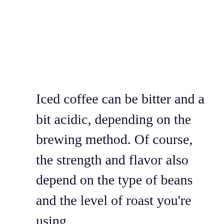Iced coffee can be bitter and a bit acidic, depending on the brewing method. Of course, the strength and flavor also depend on the type of beans and the level of roast you're using.
Then, depending on the additional ingredients you might add, such as flavored coffee syrups, your drink might be sweet and mellow.